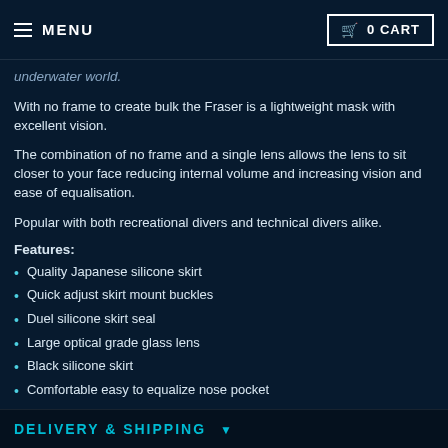MENU | 0 CART
underwater world.
With no frame to create bulk the Fraser is a lightweight mask with excellent vision.
The combination of no frame and a single lens allows the lens to sit closer to your face reducing internal volume and increasing vision and ease of equalisation.
Popular with both recreational divers and technical divers alike.
Features:
Quality Japanese silicone skirt
Quick adjust skirt mount buckles
Duel silicone skirt seal
Large optical grade glass lens
Black silicone skirt
Comfortable easy to equalize nose pocket
DELIVERY & SHIPPING